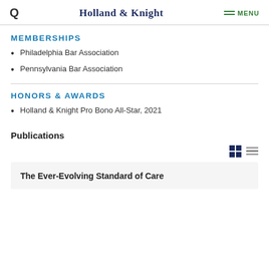Holland & Knight — MENU
MEMBERSHIPS
Philadelphia Bar Association
Pennsylvania Bar Association
HONORS & AWARDS
Holland & Knight Pro Bono All-Star, 2021
Publications
The Ever-Evolving Standard of Care